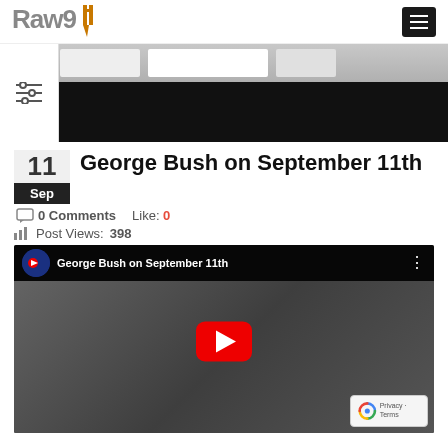Raw911
[Figure (photo): Hero banner image showing people in a classroom or similar setting, partially visible, with a black overlay on the lower portion and a sidebar filter icon on the left]
George Bush on September 11th
0 Comments   Like: 0
Post Views: 398
[Figure (screenshot): YouTube video embed thumbnail showing George Bush on September 11th, with a red play button in the center, a channel icon and video title in the top bar, and a reCAPTCHA badge in the bottom right corner. The video scene shows people in a classroom setting in black and white.]